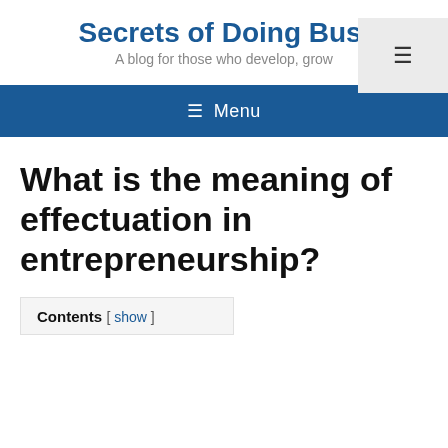Secrets of Doing Busi
A blog for those who develop, grow
≡ Menu
What is the meaning of effectuation in entrepreneurship?
Contents [ show ]